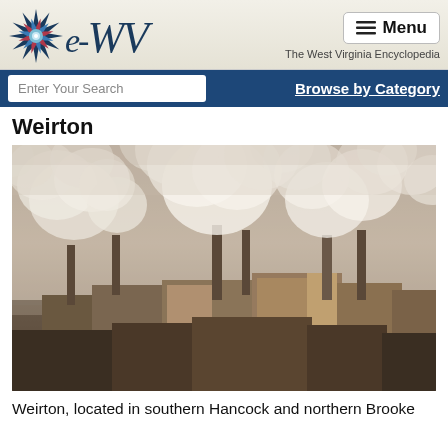e-WV The West Virginia Encyclopedia
Weirton
[Figure (photo): Aerial view of Weirton Steel industrial plant with large plumes of white steam/smoke rising from multiple stacks and buildings, hazy atmosphere]
Weirton, located in southern Hancock and northern Brooke